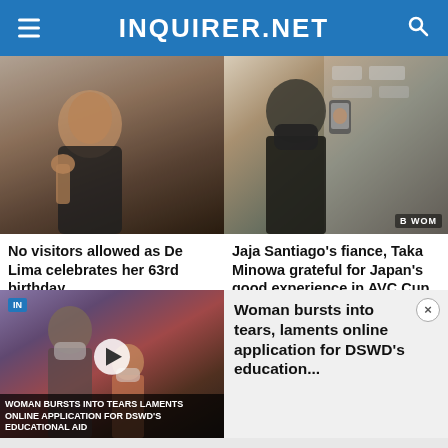INQUIRER.NET
[Figure (photo): Woman leaning on hand, looking pensive, in a hearing room]
[Figure (photo): Man wearing black mask at a press conference with sponsor logos in the background]
No visitors allowed as De Lima celebrates her 63rd birthday
Jaja Santiago's fiance, Taka Minowa grateful for Japan's good experience in AVC Cup
Don't miss out on the latest news and information.
Like us   Follow us
[Figure (screenshot): Video thumbnail showing woman and child, with caption WOMAN BURSTS INTO TEARS LAMENTS ONLINE APPLICATION FOR DSWD'S EDUCATIONAL AID]
Woman bursts into tears, laments online application for DSWD's education...